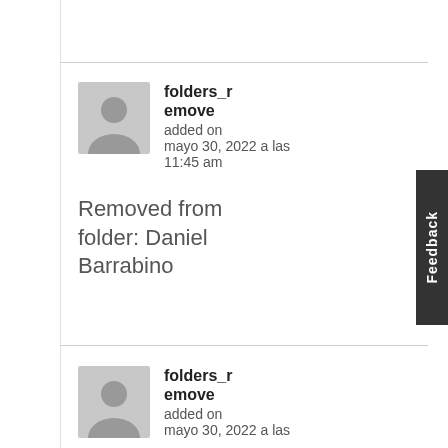folders_remove
added on
mayo 30, 2022 a las 11:45 am
Removed from folder: Daniel Barrabino
folders_remove
added on
mayo 30, 2022 a las